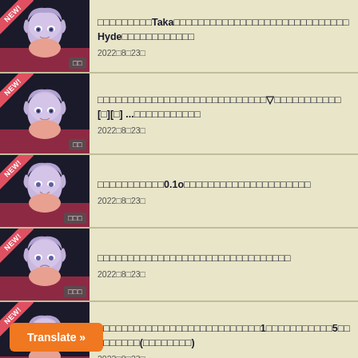□□□□□□□□□Taka□□□□□□□□□□□□□□□□□□□□□□□□□□□□□Hyde□□□□□□□□□□□□ 2022□8□23□
□□□□□□□□□□□□□□□□□□□□□□□□□□□□▽□□□□□□□□□□□[□][□] ...□□□□□□□□□□□ 2022□8□23□
□□□□□□□□□□□0.1o□□□□□□□□□□□□□□□□□□□□□ 2022□8□23□
□□□□□□□□□□□□□□□□□□□□□□□□□□□□□□□□ 2022□8□23□
□□□□□□□□□□□□□□□□□□□□□□□□□□□1□□□□□□□□□□□5□□□□□□□□□(□□□□□□□□) 2022□8□23□
□□□□□□□□□□□□□□□□□□□□□□□□□□□□□□□□□ 2022□8□23□
Translate »